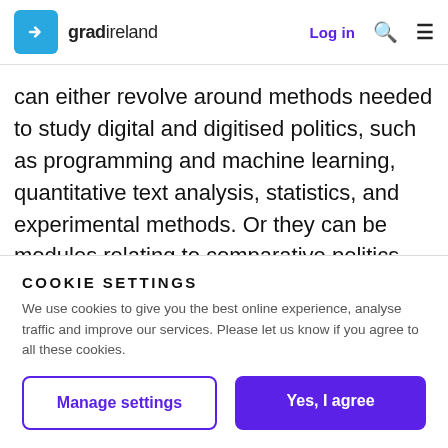gradireland — Log in
can either revolve around methods needed to study digital and digitised politics, such as programming and machine learning, quantitative text analysis, statistics, and experimental methods. Or they can be modules relating to comparative politics, international relations, political violence, political economy, and related fields that the School of Politics and International Relations has strenaths
COOKIE SETTINGS
We use cookies to give you the best online experience, analyse traffic and improve our services. Please let us know if you agree to all these cookies.
Manage settings
Yes, I agree